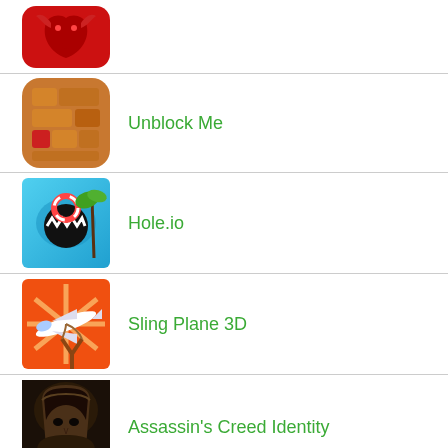[Figure (illustration): Partial app icon - red background with dragon silhouette (top row, cropped)]
[Figure (illustration): Unblock Me app icon - orange wooden block puzzle]
Unblock Me
[Figure (illustration): Hole.io app icon - colorful shark hole game]
Hole.io
[Figure (illustration): Sling Plane 3D app icon - airplane on orange background]
Sling Plane 3D
[Figure (illustration): Assassin's Creed Identity app icon - hooded assassin figure]
Assassin's Creed Identity